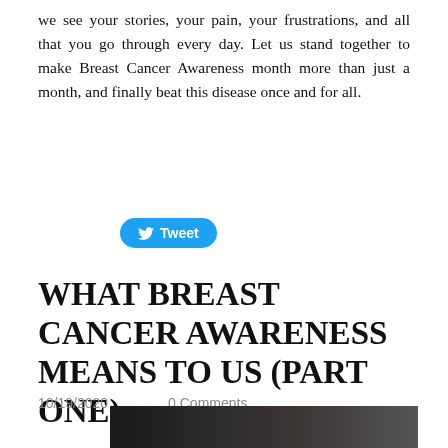we see your stories, your pain, your frustrations, and all that you go through every day. Let us stand together to make Breast Cancer Awareness month more than just a month, and finally beat this disease once and for all.
[Figure (other): Twitter Tweet button with bird logo]
WHAT BREAST CANCER AWARENESS MEANS TO US (PART ONE)
10/19/2020    0 Comments
[Figure (photo): Partial dark photograph strip at the bottom of the page]